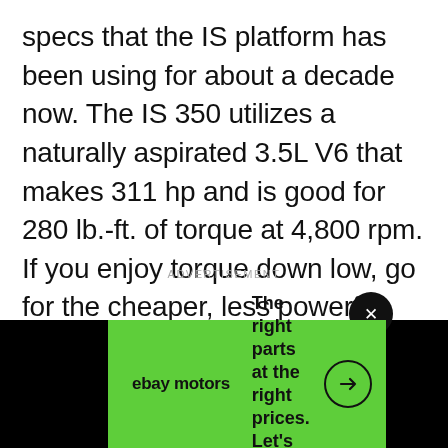specs that the IS platform has been using for about a decade now. The IS 350 utilizes a naturally aspirated 3.5L V6 that makes 311 hp and is good for 280 lb.-ft. of torque at 4,800 rpm. If you enjoy torque down low, go for the cheaper, less powerful turbocharged IS 300, which makes 258 lb.-ft. at just 1,650 rpm.
ADVERTISEMENT
[Figure (other): eBay Motors advertisement banner with green background. Text reads: 'The right parts at the right prices. Let's ride!' with a circular arrow icon on the right and the eBay Motors logo on the left.]